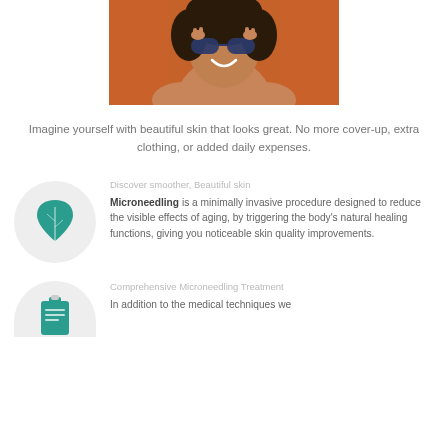[Figure (photo): Woman with curly hair holding blue sunglasses, smiling, orange background]
Imagine yourself with beautiful skin that looks great. No more cover-up, extra clothing, or added daily expenses.
[Figure (illustration): Teal leaf icon inside a light gray circle]
Discover smoother, Beautiful skin
Microneedling is a minimally invasive procedure designed to reduce the visible effects of aging, by triggering the body's natural healing functions, giving you noticeable skin quality improvements.
[Figure (illustration): Teal clipboard icon inside a light gray circle (partially visible)]
Comprehensive Microneedling Treatment
In addition to the medical techniques we